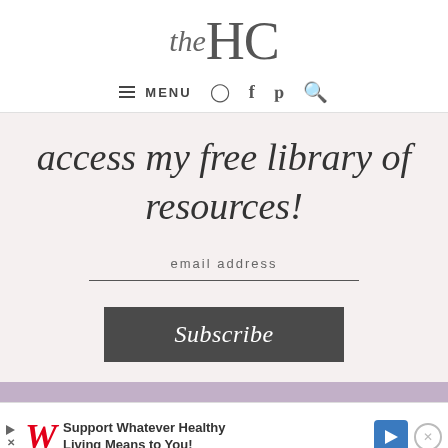the HC
MENU
access my free library of resources!
email address
Subscribe
[Figure (screenshot): Advertisement banner: Walgreens ad 'Support Whatever Healthy Living Means to You!']